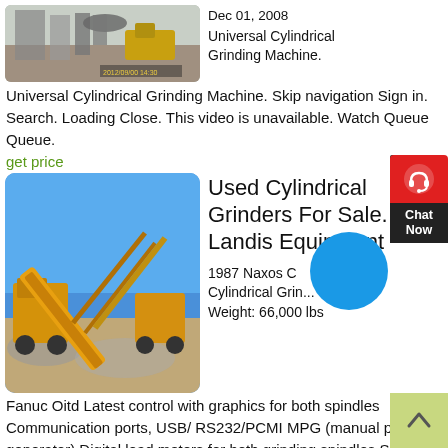[Figure (photo): Industrial grinding machine facility with dust extraction equipment and pipes, photo with timestamp 2012/09/00 14:30]
Dec 01, 2008 Universal Cylindrical Grinding Machine.
Universal Cylindrical Grinding Machine. Skip navigation Sign in. Search. Loading Close. This video is unavailable. Watch Queue Queue.
get price
[Figure (photo): Large yellow industrial equipment / mobile conveyor or mining machine on a construction site with blue sky background]
Used Cylindrical Grinders For Sale. Landis Equipment
1987 Naxos Cylindrical Grin... Weight: 66,000 lbs
Fanuc Oitd Latest control with graphics for both spindles Communication ports, USB/ RS232/PCMI MPG (manual pulse generator) Digital load meters for both grinding spindles SBS Balancing system in process for both